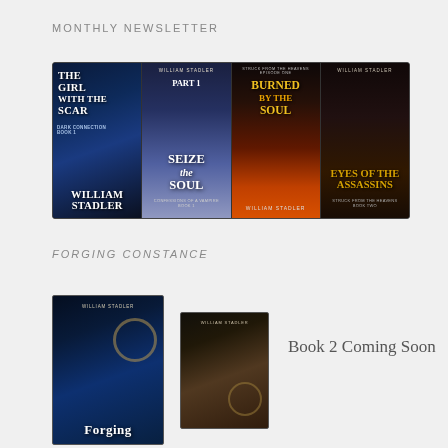MONTHLY NEWSLETTER
[Figure (illustration): Four book covers displayed in a horizontal strip: 'The Girl With The Scar' by William Stadler (dark blue, fantasy), 'Part [1] Seize the Soul' by William Stadler (blue/grey, figure in red dress), 'Burned by the Soul' by William Stadler (fire/orange tones), 'Eyes of the Assassins' by William Stadler (dark, hooded figure).]
FORGING CONSTANCE
[Figure (illustration): Book cover for 'Forging Constance' by William Stadler — dark blue steampunk style with woman and clock gear.]
[Figure (illustration): Second book cover variant for Forging Constance by William Stadler — darker tones, steampunk woman.]
Book 2 Coming Soon